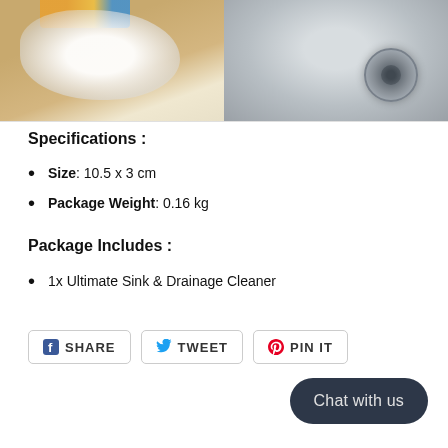[Figure (photo): Two-panel product photo: left panel shows foamy cleaning product being poured into a dirty sink, right panel shows a clean stainless steel sink with drain.]
Specifications :
Size: 10.5 x 3 cm
Package Weight: 0.16 kg
Package Includes :
1x Ultimate Sink & Drainage Cleaner
SHARE  TWEET  PIN IT
Chat with us